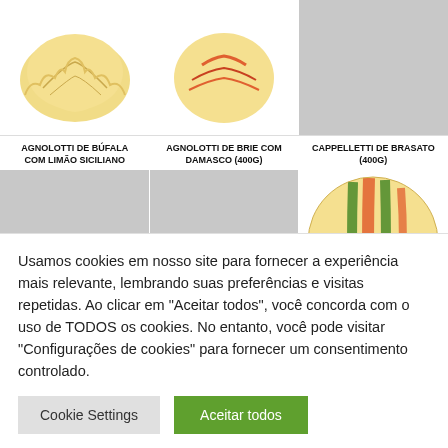[Figure (photo): Agnolotti de Búfala com Limão Siciliano pasta product photo on white background]
[Figure (photo): Agnolotti de Brie com Damasco pasta product photo on white background]
[Figure (photo): Cappelletti de Brasato gray placeholder image]
AGNOLOTTI DE BÚFALA COM LIMÃO SICILIANO
AGNOLOTTI DE BRIE COM DAMASCO (400g)
CAPPELLETTI DE BRASATO (400g)
[Figure (photo): Gray placeholder image for product]
[Figure (photo): Gray placeholder image for product]
[Figure (photo): Colorful striped round pasta ball product photo]
Usamos cookies em nosso site para fornecer a experiência mais relevante, lembrando suas preferências e visitas repetidas. Ao clicar em "Aceitar todos", você concorda com o uso de TODOS os cookies. No entanto, você pode visitar "Configurações de cookies" para fornecer um consentimento controlado.
Cookie Settings
Aceitar todos